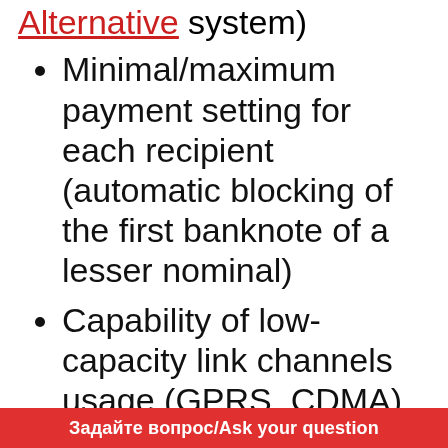Alternative system)
Minimal/maximum payment setting for each recipient (automatic blocking of the first banknote of a lesser nominal)
Capability of low-capacity link channels usage (GPRS, CDMA)
Capability of utilizing of cash acceptors models (CashCode SM, CashCode MFL, GPT Aurora, JCM EBA-003)
Flexible options of parameters
Задайте вопрос/Ask your question